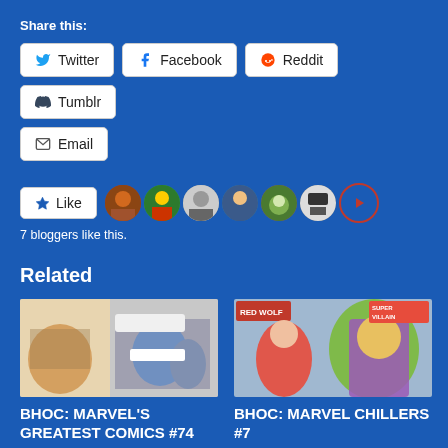Share this:
Twitter
Facebook
Reddit
Tumblr
Email
Like
7 bloggers like this.
Related
[Figure (photo): Comic book panel showing Fantastic Four characters in blue suits]
BHOC: MARVEL'S GREATEST COMICS #74
[Figure (photo): Comic book cover showing Red Wolf and Hulk-like characters with Marvel branding]
BHOC: MARVEL CHILLERS #7
May 31, 2021